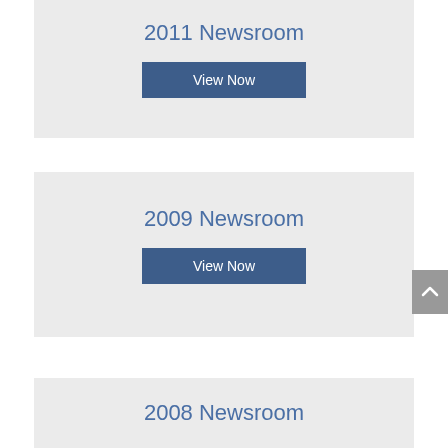2011 Newsroom
View Now
2009 Newsroom
View Now
2008 Newsroom